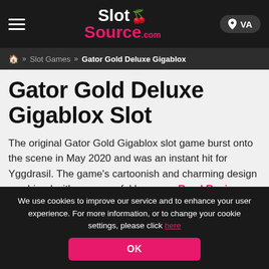SlotSource.com — VA
» Slot Games » Gator Gold Deluxe Gigablox
Gator Gold Deluxe Gigablox Slot
The original Gator Gold Gigablox slot game burst onto the scene in May 2020 and was an instant hit for Yggdrasil. The game's cartoonish and charming design combined with some useful bonus … Read Review
Play Gator Gold Deluxe Gigablox for Free Now!
We use cookies to improve our service and to enhance your user experience. For more information, or to change your cookie settings, please click here